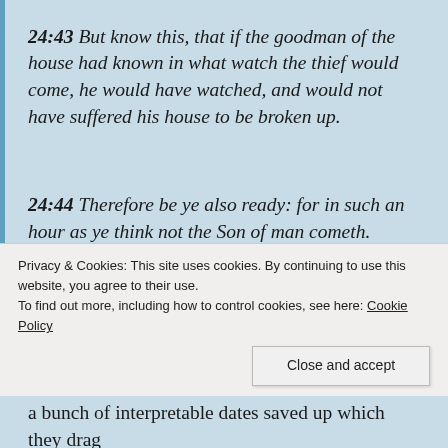24:43 But know this, that if the goodman of the house had known in what watch the thief would come, he would have watched, and would not have suffered his house to be broken up.
24:44 Therefore be ye also ready: for in such an hour as ye think not the Son of man cometh.
In other words, the book of Matthew, as well as a few other New Testament books, claim that we can't know when this 'prophecy' will happen.  It's amazing that some academic or priest did not discover this 1500
Privacy & Cookies: This site uses cookies. By continuing to use this website, you agree to their use.
To find out more, including how to control cookies, see here: Cookie Policy
a bunch of interpretable dates saved up which they drag